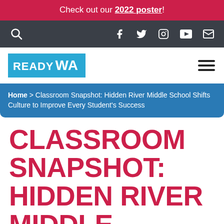Check out our 2022 poster!
[Figure (screenshot): Navigation bar with search icon, Facebook, Twitter, Instagram, YouTube, and email icons on dark background]
[Figure (logo): READY WA logo in cyan/blue box, with hamburger menu icon on right]
Home > Classroom Snapshot: Hidden River Middle School Shifts Culture to Improve Every Student's Success
CLASSROOM SNAPSHOT: HIDDEN RIVER MIDDLE SCHOOL